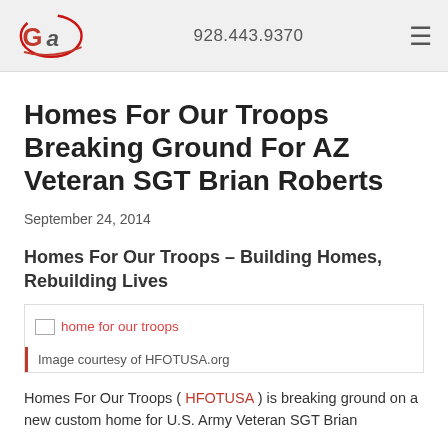928.443.9370
Homes For Our Troops Breaking Ground For AZ Veteran SGT Brian Roberts
September 24, 2014
Homes For Our Troops – Building Homes, Rebuilding Lives
[Figure (photo): Image placeholder for 'home for our troops' photo with caption: Image courtesy of HFOTUSA.org]
Image courtesy of HFOTUSA.org
Homes For Our Troops ( HFOTUSA ) is breaking ground on a new custom home for U.S. Army Veteran SGT Brian